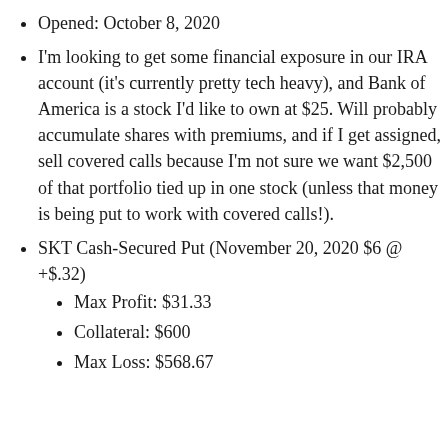Opened: October 8, 2020
I'm looking to get some financial exposure in our IRA account (it's currently pretty tech heavy), and Bank of America is a stock I'd like to own at $25. Will probably accumulate shares with premiums, and if I get assigned, sell covered calls because I'm not sure we want $2,500 of that portfolio tied up in one stock (unless that money is being put to work with covered calls!).
SKT Cash-Secured Put (November 20, 2020 $6 @ +$.32)
Max Profit: $31.33
Collateral: $600
Max Loss: $568.67